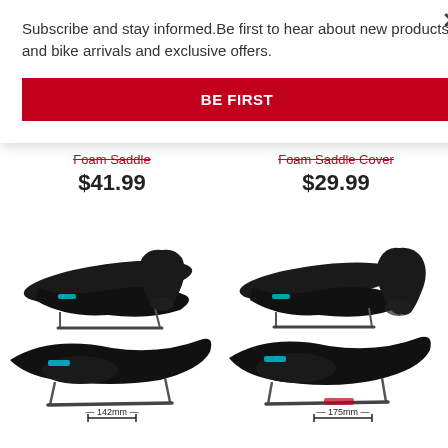Subscribe and stay informed.Be first to hear about new products and bike arrivals and exclusive offers.
BE FIRST
Foam Saddle
$41.99
Foam Saddle Cover
$29.99
[Figure (photo): Two black bicycle saddles shown from side and front angles with 142mm width measurement label]
[Figure (photo): Two black bicycle saddles shown from side and front angles with 175mm width measurement label]